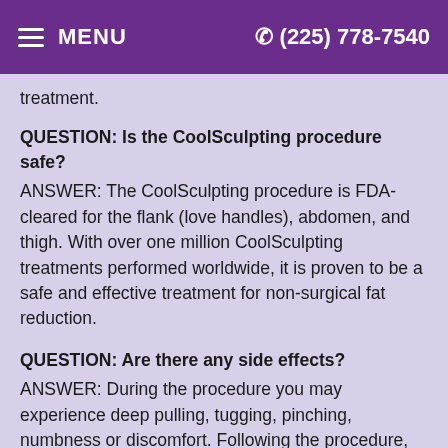≡ MENU   (225) 778-7540
treatment.
QUESTION: Is the CoolSculpting procedure safe?
ANSWER: The CoolSculpting procedure is FDA-cleared for the flank (love handles), abdomen, and thigh. With over one million CoolSculpting treatments performed worldwide, it is proven to be a safe and effective treatment for non-surgical fat reduction.
QUESTION: Are there any side effects?
ANSWER: During the procedure you may experience deep pulling, tugging, pinching, numbness or discomfort. Following the procedure, typical side effects include temporary numbness, redness, swelling, bruising, firmness, tingling, stinging and pain.